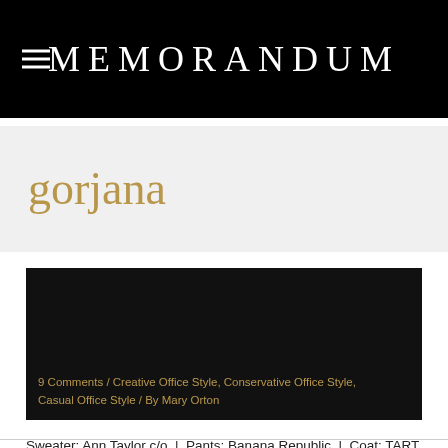MEMORANDUM
gorjana
[Figure (photo): Dark/black article header image with gold text overlay showing article metadata]
9 Comments / Creative Office Style, Conservative Office Style, Casual Office Style / By Mary Orton
Sweater: Ann Taylor c/o  |  Pants: Banana Republic  |  Coat: TART Collections (almost identical here and here)  |  Shoes: Ralph Lauren  |  Necklace: Gorjana  |  Sunglasses: Prada  |  Polish: Essie (A-List) Photos by Jeff Thibodeau Shop the Post: